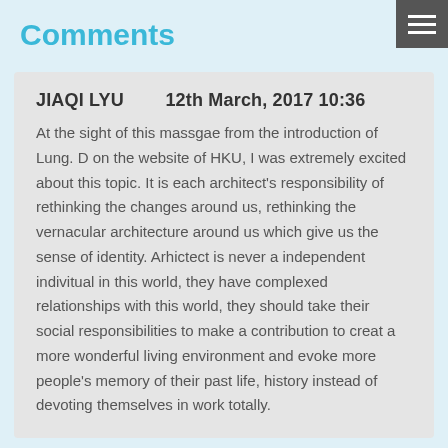Comments
JIAQI LYU        12th March, 2017 10:36
At the sight of this massgae from the introduction of Lung. D on the website of HKU, I was extremely excited about this topic. It is each architect's responsibility of rethinking the changes around us, rethinking the vernacular architecture around us which give us the sense of identity. Arhictect is never a independent indivitual in this world, they have complexed relationships with this world, they should take their social responsibilities to make a contribution to creat a more wonderful living environment and evoke more people's memory of their past life, history instead of devoting themselves in work totally.